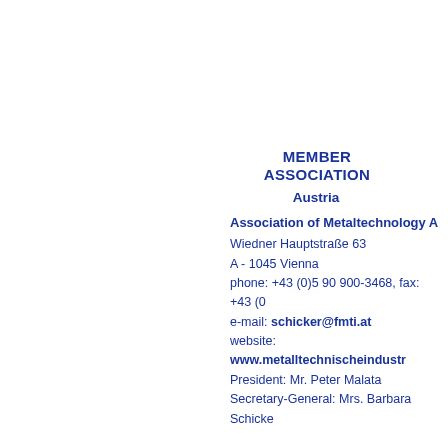MEMBER ASSOCIATIONS
Austria
Association of Metaltechnology A
Wiedner Hauptstraße 63
A - 1045 Vienna
phone: +43 (0)5 90 900-3468, fax: +43 (0...
e-mail: schicker@fmti.at
website: www.metalltechnischeindustr...
President: Mr. Peter Malata
Secretary-General: Mrs. Barbara Schicke...
Denmark
ADDI – The Association of the Da...
Håndværkersvinget 6
DK 2970 Hørsholm
Denmark